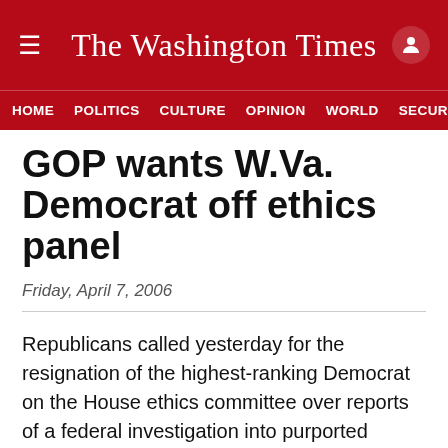The Washington Times
HOME  POLITICS  CULTURE  OPINION  WORLD  SECURITY
GOP wants W.Va. Democrat off ethics panel
Friday, April 7, 2006
Republicans called yesterday for the resignation of the highest-ranking Democrat on the House ethics committee over reports of a federal investigation into purported irregularities in his campaign finances.
Rep. Alan B. Mollohan of West Virginia is